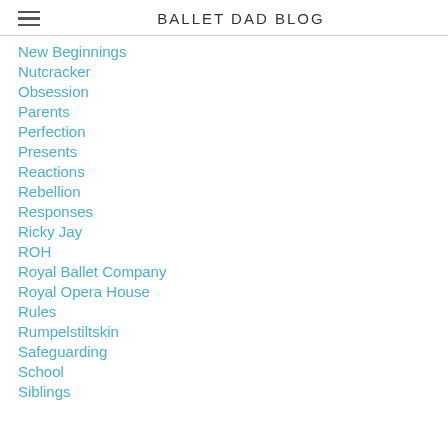BALLET DAD BLOG
New Beginnings
Nutcracker
Obsession
Parents
Perfection
Presents
Reactions
Rebellion
Responses
Ricky Jay
ROH
Royal Ballet Company
Royal Opera House
Rules
Rumpelstiltskin
Safeguarding
School
Siblings